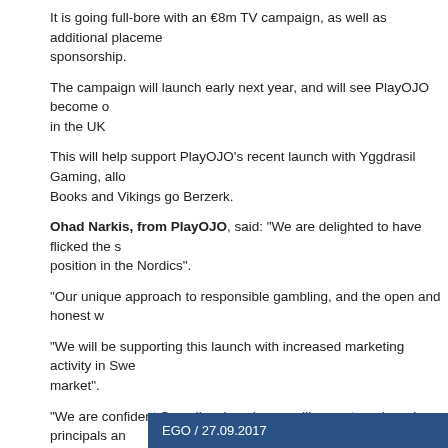It is going full-bore with an €8m TV campaign, as well as additional placement sponsorship.
The campaign will launch early next year, and will see PlayOJO become one in the UK
This will help support PlayOJO's recent launch with Yggdrasil Gaming, allowing Books and Vikings go Berzerk.
Ohad Narkis, from PlayOJO, said: "We are delighted to have flicked the switch position in the Nordics".
"Our unique approach to responsible gambling, and the open and honest way
"We will be supporting this launch with increased marketing activity in Sweden market".
"We are confident Scandinavian players will accept our brand principals and
"A big part of that success comes from having the top games from the best success in the region."
PlayOJO launched in the UK in February 2017, and has already taken the market
This approach has seen PlayOJO receive nominations for two categories at Responsible Operator.
EGO / 27.09.2017